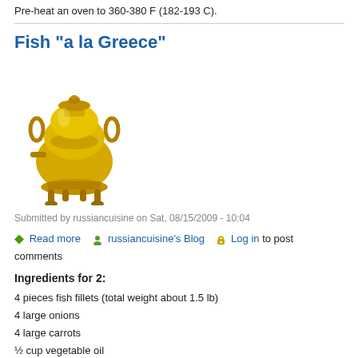Pre-heat an oven to 360-380 F (182-193 C).
Fish "a la Greece"
[Figure (photo): Image of a golden samovar (Russian tea urn)]
Submitted by russiancuisine on Sat, 08/15/2009 - 10:04
Read more   russiancuisine's Blog   Log in to post comments
Ingredients for 2:
4 pieces fish fillets (total weight about 1.5 lb)
4 large onions
4 large carrots
½ cup vegetable oil
½ cup tomato paste (you can put more, or less, on your taste)
Salt, sugar, ground pepper on taste